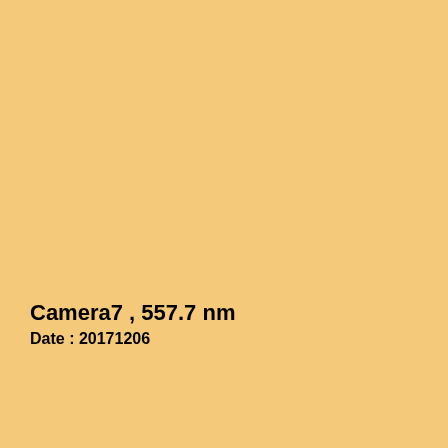Camera7 , 557.7 nm
Date : 20171206
Click figure to enlarge
Came...
Came...
Came...
Came...
Came...
Came...
Came...
Came...
Came...
Came...
TILTI...
TILTI...
TILTI...
Fabry-...
Airglo...
Airglo...
Airglo...
Airglo...
Airglo...
Airglo...
3-ch p...
3-ch p...